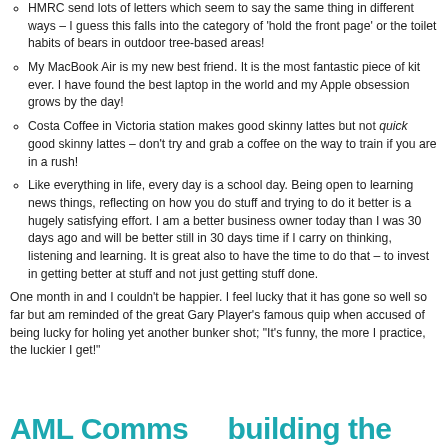HMRC send lots of letters which seem to say the same thing in different ways – I guess this falls into the category of 'hold the front page' or the toilet habits of bears in outdoor tree-based areas!
My MacBook Air is my new best friend. It is the most fantastic piece of kit ever. I have found the best laptop in the world and my Apple obsession grows by the day!
Costa Coffee in Victoria station makes good skinny lattes but not quick good skinny lattes – don't try and grab a coffee on the way to train if you are in a rush!
Like everything in life, every day is a school day. Being open to learning news things, reflecting on how you do stuff and trying to do it better is a hugely satisfying effort. I am a better business owner today than I was 30 days ago and will be better still in 30 days time if I carry on thinking, listening and learning. It is great also to have the time to do that – to invest in getting better at stuff and not just getting stuff done.
One month in and I couldn't be happier. I feel lucky that it has gone so well so far but am reminded of the great Gary Player's famous quip when accused of being lucky for holing yet another bunker shot; "It's funny, the more I practice, the luckier I get!"
AML Comms   building the